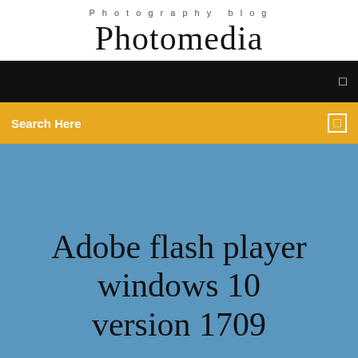Photography blog
Photomedia
[Figure (screenshot): Black navigation bar with a small icon on the right side]
Search Here
Adobe flash player windows 10 version 1709